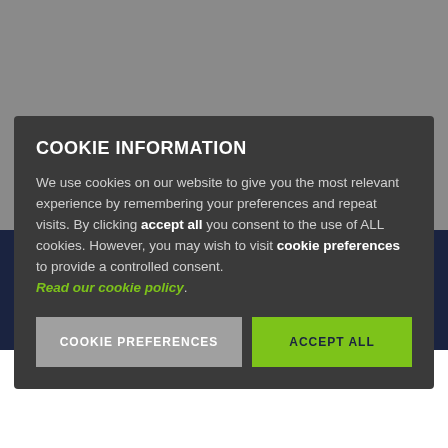COOKIE INFORMATION
We use cookies on our website to give you the most relevant experience by remembering your preferences and repeat visits. By clicking accept all you consent to the use of ALL cookies. However, you may wish to visit cookie preferences to provide a controlled consent. Read our cookie policy.
COOKIE PREFERENCES
ACCEPT ALL